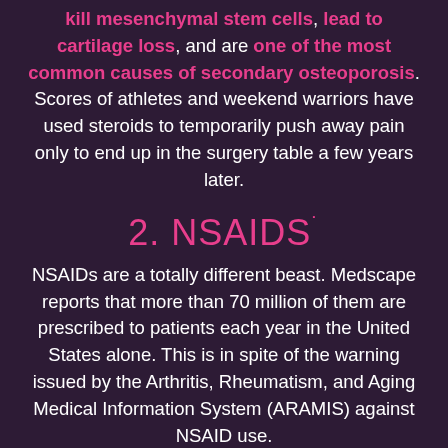kill mesenchymal stem cells, lead to cartilage loss, and are one of the most common causes of secondary osteoporosis. Scores of athletes and weekend warriors have used steroids to temporarily push away pain only to end up in the surgery table a few years later.
2. NSAIDS
NSAIDs are a totally different beast. Medscape reports that more than 70 million of them are prescribed to patients each year in the United States alone. This is in spite of the warning issued by the Arthritis, Rheumatism, and Aging Medical Information System (ARAMIS) against NSAID use.
To the patient, it sounds like a decent proposal – use